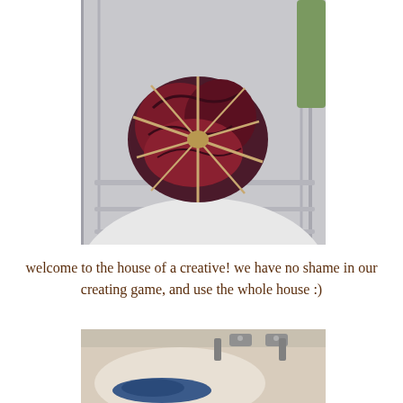[Figure (photo): A bundle of dark red and purple fabric tied with rubber bands or string, sitting inside a washing machine drum.]
welcome to the house of a creative! we have no shame in our creating game, and use the whole house :)
[Figure (photo): A bathroom sink with silver faucet handles, with blue fabric or dye visible in the basin.]